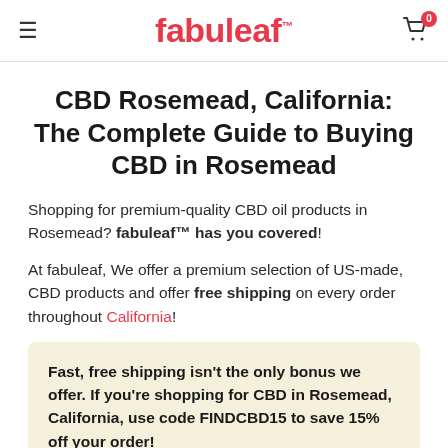fabuleaf
CBD Rosemead, California: The Complete Guide to Buying CBD in Rosemead
Shopping for premium-quality CBD oil products in Rosemead? fabuleaf™ has you covered!
At fabuleaf, We offer a premium selection of US-made, CBD products and offer free shipping on every order throughout California!
Fast, free shipping isn't the only bonus we offer. If you're shopping for CBD in Rosemead, California, use code FINDCBD15 to save 15% off your order!